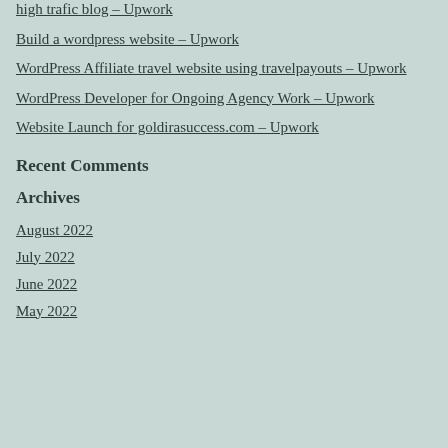high trafic blog – Upwork
Build a wordpress website – Upwork
WordPress Affiliate travel website using travelpayouts – Upwork
WordPress Developer for Ongoing Agency Work – Upwork
Website Launch for goldirasuccess.com – Upwork
Recent Comments
Archives
August 2022
July 2022
June 2022
May 2022